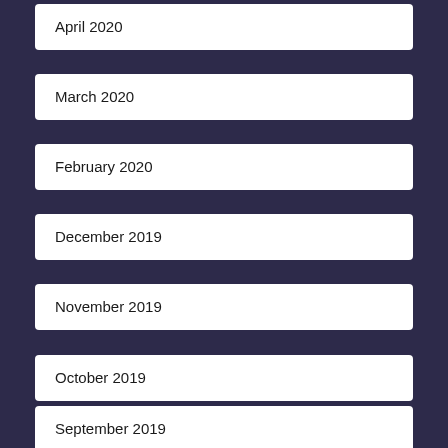April 2020
March 2020
February 2020
December 2019
November 2019
October 2019
September 2019